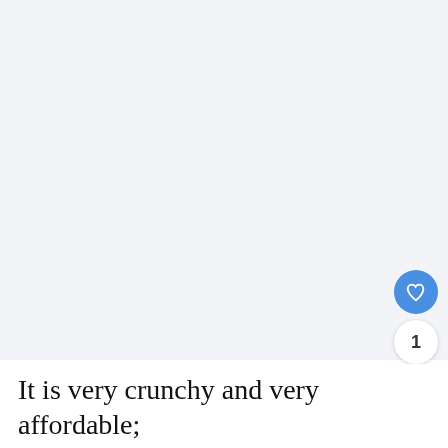[Figure (photo): Large light gray/white image area with faint loading indicators, taking up most of the upper portion of the page]
[Figure (illustration): Blue circular heart/like button icon]
1
[Figure (illustration): White circular share button icon]
[Figure (photo): What's Next card showing thumbnail of oranges with text: WHAT'S NEXT → Is An Orange A Fruit Or...]
It is very crunchy and very affordable;